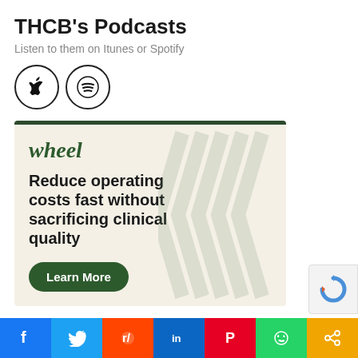THCB's Podcasts
Listen to them on Itunes or Spotify
[Figure (logo): Apple Podcasts and Spotify circular icons]
[Figure (infographic): Wheel ad banner: 'wheel' brand name, headline 'Reduce operating costs fast without sacrificing clinical quality', green Learn More button, decorative chevron pattern]
[Figure (other): reCAPTCHA badge in bottom right]
[Figure (infographic): Social sharing bar with Facebook, Twitter, Reddit, LinkedIn, Pinterest, WhatsApp, and Share buttons]